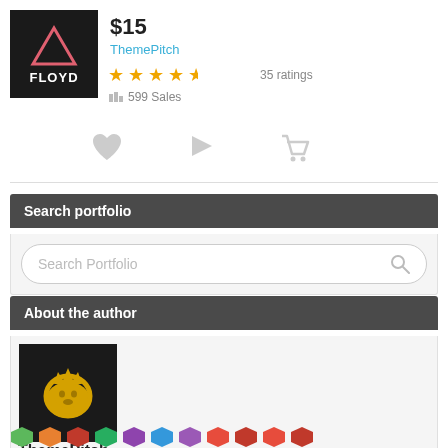[Figure (logo): Floyd theme logo - dark background with red/pink triangle outline and white text FLOYD]
$15
ThemePitch
★★★★☆ 35 ratings
📊 599 Sales
[Figure (infographic): Three action icons: heart (wishlist), flag (collection), shopping cart]
Search portfolio
Search Portfolio
About the author
[Figure (logo): ThemePitch author avatar - dark background with golden lion king logo]
ThemePitch
[Figure (infographic): Row of colorful hexagonal badge icons at bottom]